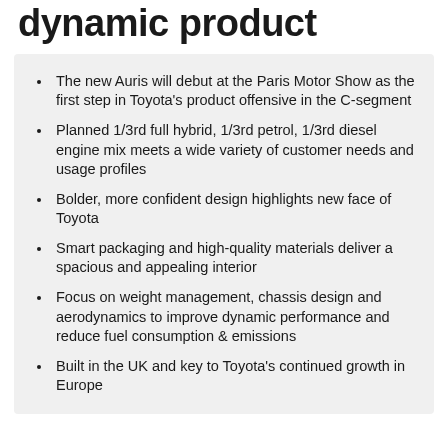dynamic product
The new Auris will debut at the Paris Motor Show as the first step in Toyota's product offensive in the C-segment
Planned 1/3rd full hybrid, 1/3rd petrol, 1/3rd diesel engine mix meets a wide variety of customer needs and usage profiles
Bolder, more confident design highlights new face of Toyota
Smart packaging and high-quality materials deliver a spacious and appealing interior
Focus on weight management, chassis design and aerodynamics to improve dynamic performance and reduce fuel consumption & emissions
Built in the UK and key to Toyota's continued growth in Europe